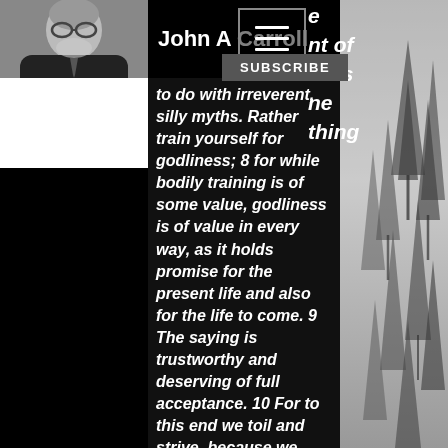John A Carroll
[Figure (photo): Headshot photo of John A Carroll, older man with glasses and white beard, wearing a dark suit]
SUBSCRIBE
to do with irreverent, silly myths. Rather train yourself for godliness; 8 for while bodily training is of some value, godliness is of value in every way, as it holds promise for the present life and also for the life to come. 9 The saying is trustworthy and deserving of full acceptance. 10 For to this end we toil and strive, because we have our hope set on the living God, who is the Savior of all people, especially of those who believe. My reflections: In this succinct statement, Paul gives Timothy crucial commands for anyone who desires to be a good servant